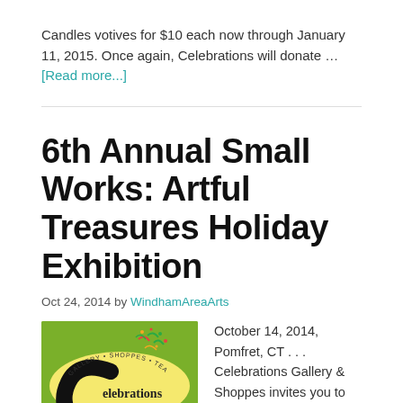Candles votives for $10 each now through January 11, 2015. Once again, Celebrations will donate … [Read more...]
6th Annual Small Works: Artful Treasures Holiday Exhibition
Oct 24, 2014 by WindhamAreaArts
[Figure (logo): Celebrations Gallery & Shoppes logo - green background with yellow oval, decorative confetti, and stylized letter C with 'elebrations' text]
October 14, 2014, Pomfret, CT . . . Celebrations Gallery & Shoppes invites you to